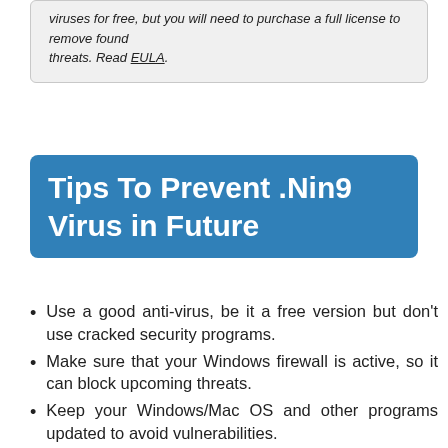viruses for free, but you will need to purchase a full license to remove found threats. Read EULA.
Tips To Prevent .Nin9 Virus in Future
Use a good anti-virus, be it a free version but don't use cracked security programs.
Make sure that your Windows firewall is active, so it can block upcoming threats.
Keep your Windows/Mac OS and other programs updated to avoid vulnerabilities.